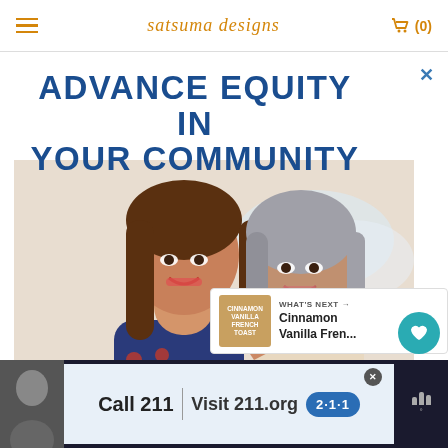satsuma designs — (0)
ADVANCE EQUITY IN YOUR COMMUNITY
[Figure (photo): Two women hugging and smiling, United Way branding visible]
[Figure (infographic): What's Next panel showing Cinnamon Vanilla Fren... thumbnail]
[Figure (infographic): Bottom banner ad: Call 211 | Visit 211.org with 2-1-1 badge]